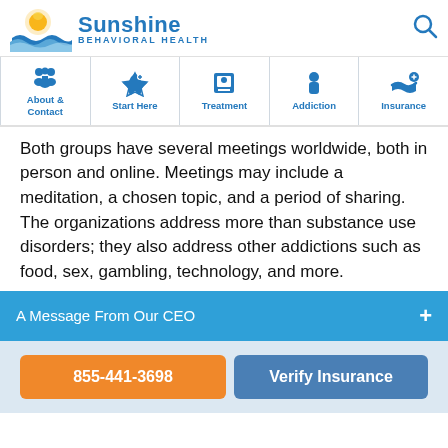[Figure (logo): Sunshine Behavioral Health logo with sun and wave graphic]
[Figure (infographic): Navigation bar with icons: About & Contact, Start Here, Treatment, Addiction, Insurance]
Both groups have several meetings worldwide, both in person and online. Meetings may include a meditation, a chosen topic, and a period of sharing. The organizations address more than substance use disorders; they also address other addictions such as food, sex, gambling, technology, and more.
A Message From Our CEO
855-441-3698
Verify Insurance